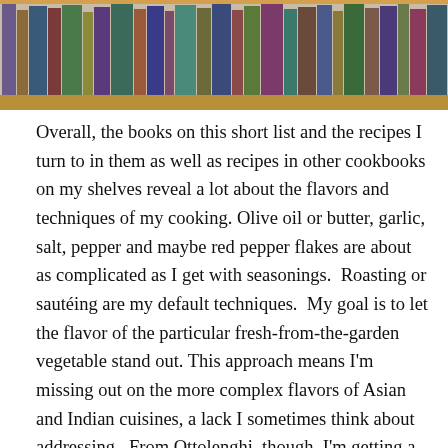[Figure (photo): A bookshelf filled with various cookbooks and books of different colors and sizes, on a wooden shelf.]
Overall, the books on this short list and the recipes I turn to in them as well as recipes in other cookbooks on my shelves reveal a lot about the flavors and techniques of my cooking. Olive oil or butter, garlic, salt, pepper and maybe red pepper flakes are about as complicated as I get with seasonings.  Roasting or sautéing are my default techniques.  My goal is to let the flavor of the particular fresh-from-the-garden vegetable stand out. This approach means I'm missing out on the more complex flavors of Asian and Indian cuisines, a lack I sometimes think about addressing.  From Ottolenghi, though, I'm getting a helpful nudge in the direction of the Middle East. Thanks to his creative recipes, cumin and coriander, tahini and yogurt based sauces are a bigger part of my vegetable cooking